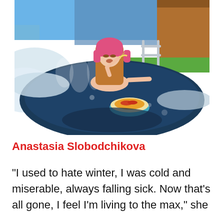[Figure (photo): A young woman with long brown hair wearing a pink fur hat sits in an outdoor ice bath or frozen pool, eating noodles/pasta from a turquoise plate floating in front of her. Steam rises from the cold water. In the background there is snow, a wooden sauna barrel, green grass, and a clear blue sky.]
Anastasia Slobodchikova
"I used to hate winter, I was cold and miserable, always falling sick. Now that's all gone, I feel I'm living to the max," she